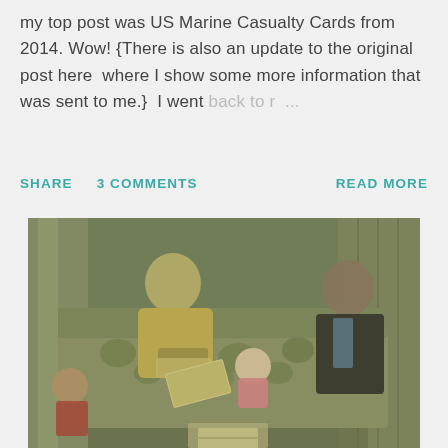my top post was US Marine Casualty Cards from 2014.  Wow! {There is also an update to the original post here  where I show some more information that was sent to me.}  I went back to r ...
SHARE   3 COMMENTS   READ MORE
[Figure (photo): Vintage photograph of people sitting in a living room on a floral patterned couch. A man in a yellow shirt reads a book, a baby in pink sits between him and another man in a dark jacket. A child is visible on the left. Curtains and wood-paneled walls in the background.]